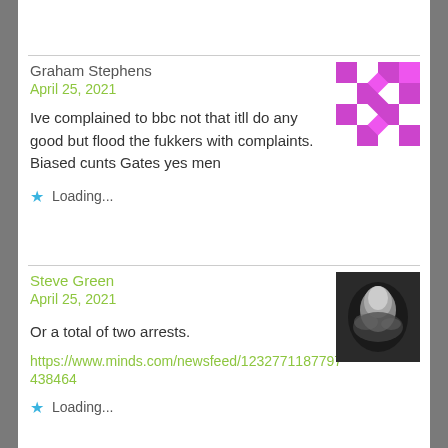Graham Stephens
April 25, 2021
Ive complained to bbc not that itll do any good but flood the fukkers with complaints. Biased cunts Gates yes men
Loading...
Steve Green
April 25, 2021
Or a total of two arrests.
https://www.minds.com/newsfeed/1232771187797438464
Loading...